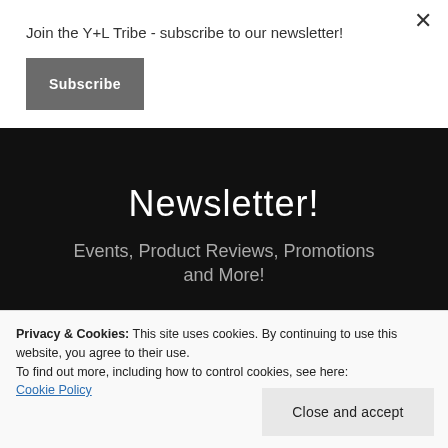Join the Y+L Tribe - subscribe to our newsletter!
Subscribe
Newsletter!
Events, Product Reviews, Promotions and More!
Enter your name
Privacy & Cookies: This site uses cookies. By continuing to use this website, you agree to their use.
To find out more, including how to control cookies, see here: Cookie Policy
Close and accept